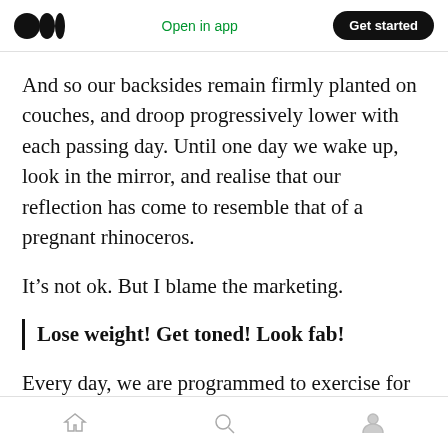Medium logo | Open in app | Get started
And so our backsides remain firmly planted on couches, and droop progressively lower with each passing day. Until one day we wake up, look in the mirror, and realise that our reflection has come to resemble that of a pregnant rhinoceros.
It’s not ok. But I blame the marketing.
Lose weight! Get toned! Look fab!
Every day, we are programmed to exercise for an end goal. The path towards that end goal is
Home | Search | Profile